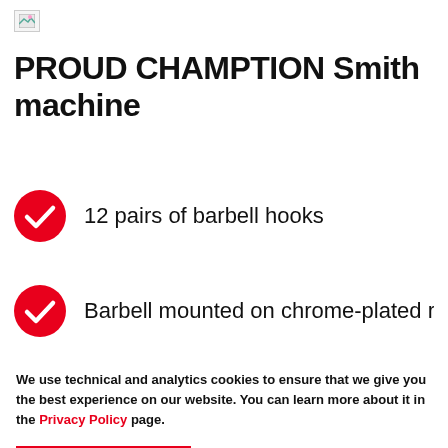[Figure (logo): Small broken image placeholder icon in top left corner]
PROUD CHAMPTION Smith machine
12 pairs of barbell hooks
Barbell mounted on chrome-plated rails
We use technical and analytics cookies to ensure that we give you the best experience on our website. You can learn more about it in the Privacy Policy page.
Accept & close